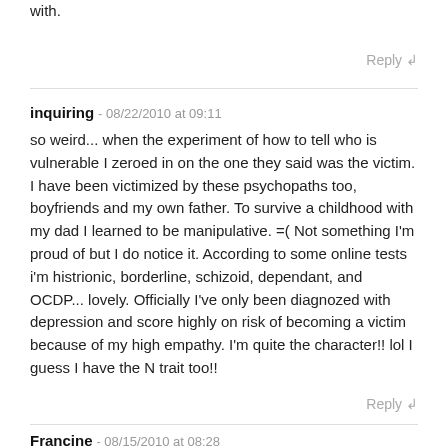with.
Reply ↲
inquiring - 08/22/2010 at 09:11
so weird... when the experiment of how to tell who is vulnerable I zeroed in on the one they said was the victim. I have been victimized by these psychopaths too, boyfriends and my own father. To survive a childhood with my dad I learned to be manipulative. =( Not something I'm proud of but I do notice it. According to some online tests i'm histrionic, borderline, schizoid, dependant, and OCDP... lovely. Officially I've only been diagnozed with depression and score highly on risk of becoming a victim because of my high empathy. I'm quite the character!! lol I guess I have the N trait too!!
Reply ↲
Francine - 08/15/2010 at 08:28